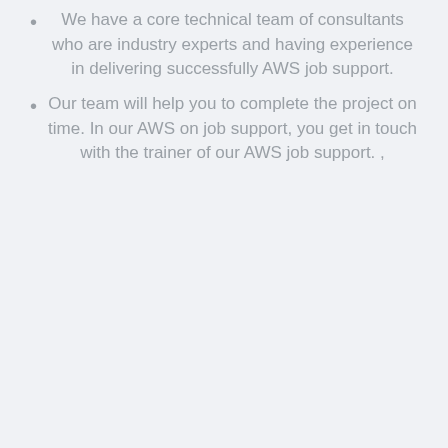We have a core technical team of consultants who are industry experts and having experience in delivering successfully AWS job support.
Our team will help you to complete the project on time. In our AWS on job support, you get in touch with the trainer of our AWS job support. ,